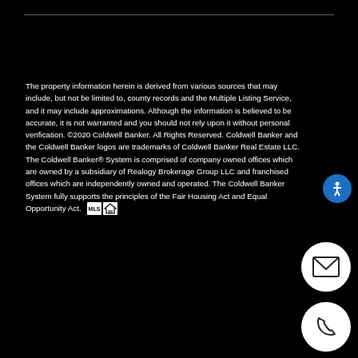The property information herein is derived from various sources that may include, but not be limited to, county records and the Multiple Listing Service, and it may include approximations. Although the information is believed to be accurate, it is not warranted and you should not rely upon it without personal verification. ©2020 Coldwell Banker. All Rights Reserved. Coldwell Banker and the Coldwell Banker logos are trademarks of Coldwell Banker Real Estate LLC. The Coldwell Banker® System is comprised of company owned offices which are owned by a subsidiary of Realogy Brokerage Group LLC and franchised offices which are independently owned and operated. The Coldwell Banker System fully supports the principles of the Fair Housing Act and Equal Opportunity Act.
[Figure (logo): MLS and Equal Housing Opportunity icons]
[Figure (other): Accessibility icon button (blue circle with person icon)]
[Figure (other): Email contact button (white circle with envelope icon)]
[Figure (other): Phone contact button (white circle with phone handset icon)]